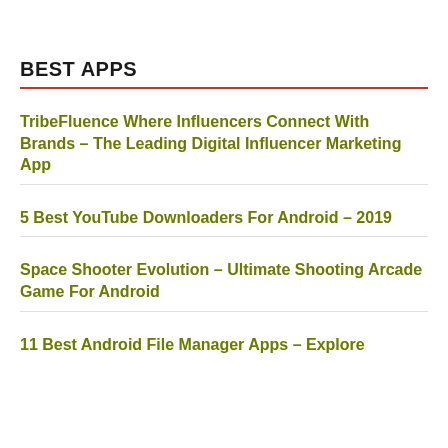BEST APPS
TribeFluence Where Influencers Connect With Brands – The Leading Digital Influencer Marketing App
5 Best YouTube Downloaders For Android – 2019
Space Shooter Evolution – Ultimate Shooting Arcade Game For Android
11 Best Android File Manager Apps – Explore